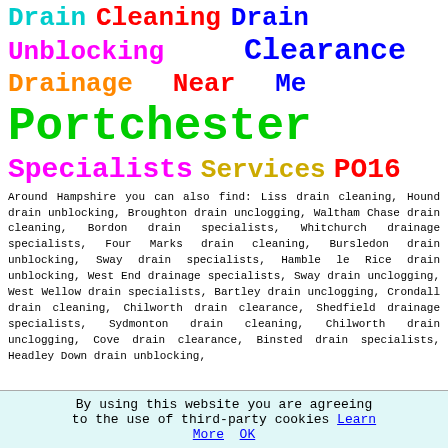Drain Cleaning Drain Unblocking Clearance Drainage Near Me Portchester Specialists Services PO16
Around Hampshire you can also find: Liss drain cleaning, Hound drain unblocking, Broughton drain unclogging, Waltham Chase drain cleaning, Bordon drain specialists, Whitchurch drainage specialists, Four Marks drain cleaning, Bursledon drain unblocking, Sway drain specialists, Hamble le Rice drain unblocking, West End drainage specialists, Sway drain unclogging, West Wellow drain specialists, Bartley drain unclogging, Crondall drain cleaning, Chilworth drain clearance, Shedfield drainage specialists, Sydmonton drain cleaning, Chilworth drain unclogging, Cove drain clearance, Binsted drain specialists, Headley Down drain unblocking
By using this website you are agreeing to the use of third-party cookies Learn More OK